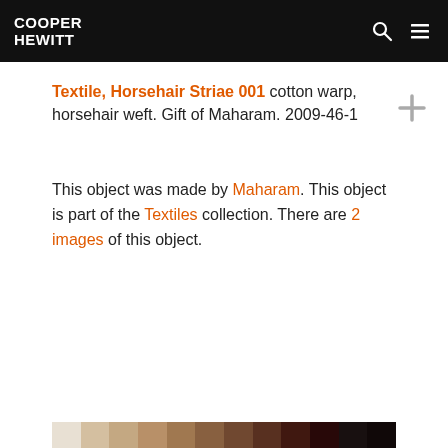COOPER HEWITT
Textile, Horsehair Striae 001 cotton warp, horsehair weft. Gift of Maharam. 2009-46-1
This object was made by Maharam. This object is part of the Textiles collection. There are 2 images of this object.
[Figure (other): Color swatch strip showing gradient from light beige to near-black at the bottom of the page]